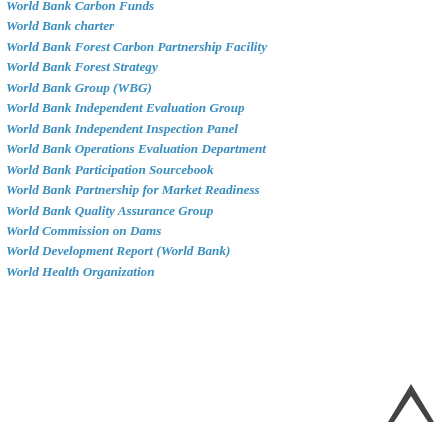World Bank Carbon Funds
World Bank charter
World Bank Forest Carbon Partnership Facility
World Bank Forest Strategy
World Bank Group (WBG)
World Bank Independent Evaluation Group
World Bank Independent Inspection Panel
World Bank Operations Evaluation Department
World Bank Participation Sourcebook
World Bank Partnership for Market Readiness
World Bank Quality Assurance Group
World Commission on Dams
World Development Report (World Bank)
World Health Organization